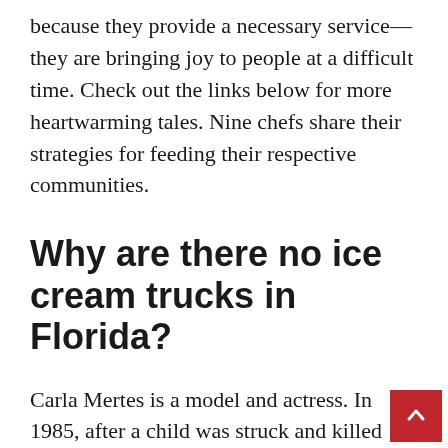because they provide a necessary service—they are bringing joy to people at a difficult time. Check out the links below for more heartwarming tales. Nine chefs share their strategies for feeding their respective communities.
Why are there no ice cream trucks in Florida?
Carla Mertes is a model and actress. In 1985, after a child was struck and killed while walking to get ice cream, the city banned ice cream trucks and other street vendors from the streets. If an officer encounters someone selling ice cream within the city borders, the